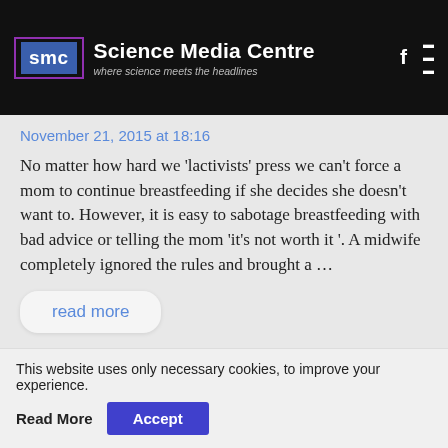smc Science Media Centre where science meets the headlines
November 21, 2015 at 18:16
No matter how hard we 'lactivists' press we can't force a mom to continue breastfeeding if she decides she doesn't want to. However, it is easy to sabotage breastfeeding with bad advice or telling the mom 'it's not worth it '. A midwife completely ignored the rules and brought a …
read more
Reply
LEAVE A REPLY
This website uses only necessary cookies, to improve your experience.
Read More  Accept